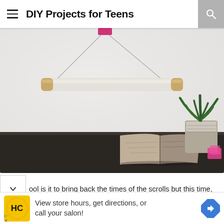DIY Projects for Teens
[Figure (photo): A white wall with a DIY scroll/hanging rod made from a white cylindrical rod with wooden/brass end caps, suspended by string from a small pink/magenta piece near the top. Below the hanging is a dark wooden table with an open book/magazine and a succulent plant in a birch bark pot. Pink sticky notes are visible on the table.]
ool is it to bring back the times of the scrolls but this time,
[Figure (infographic): Advertisement banner: HC (Haircuts) logo in yellow circle with black text, ad text 'View store hours, get directions, or call your salon!' with a blue navigation arrow icon on the right.]